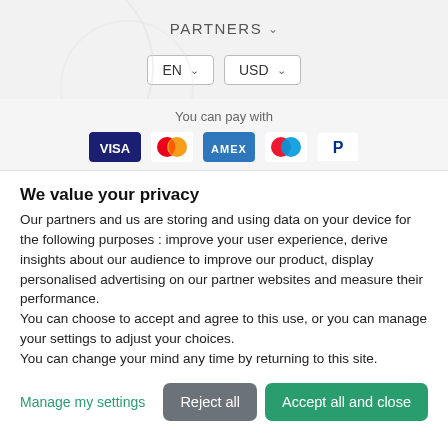PARTNERS ˅
EN ˅   USD ˅
You can pay with
[Figure (other): Payment method icons: Visa, Mastercard, Amex, Maestro, PayPal]
We value your privacy
Our partners and us are storing and using data on your device for the following purposes : improve your user experience, derive insights about our audience to improve our product, display personalised advertising on our partner websites and measure their performance.
You can choose to accept and agree to this use, or you can manage your settings to adjust your choices.
You can change your mind any time by returning to this site.
Manage my settings
Reject all
Accept all and close